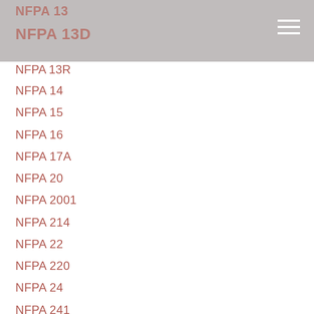NFPA 13
NFPA 13D
NFPA 13R
NFPA 14
NFPA 15
NFPA 16
NFPA 17A
NFPA 20
NFPA 2001
NFPA 214
NFPA 22
NFPA 220
NFPA 24
NFPA 241
NFPA 25
NFPA 291
NFPA 30
NFPA 33
NFPA 400